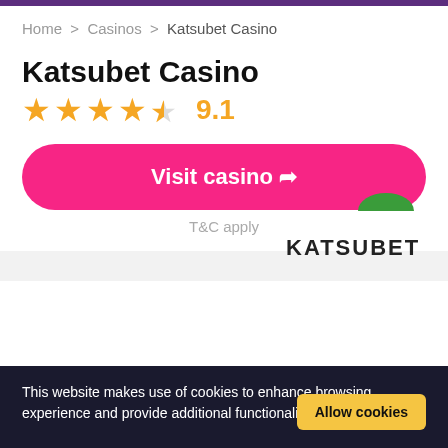Home > Casinos > Katsubet Casino
Katsubet Casino
[Figure (logo): Katsubet Casino logo with green semicircle above KATSUBET text]
★★★★½ 9.1
Visit casino ➤
T&C apply
This website makes use of cookies to enhance browsing experience and provide additional functionality. Details
Allow cookies